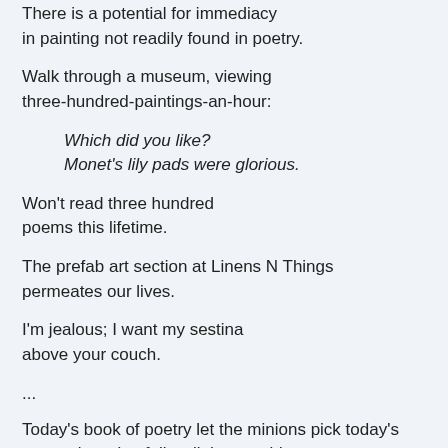There is a potential for immediacy in painting not readily found in poetry.
Walk through a museum, viewing three-hundred-paintings-an-hour:
Which did you like?
Monet's lily pads were glorious.
Won't read three hundred poems this lifetime.
The prefab art section at Linens N Things permeates our lives.
I'm jealous; I want my sestina above your couch.
...
Today's book of poetry let the minions pick today's poems knowing full well they could not go wrong.  Jamie Sharpe's second book of poems is confirmation of what we all thought